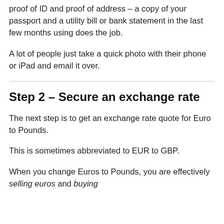proof of ID and proof of address – a copy of your passport and a utility bill or bank statement in the last few months using does the job.
A lot of people just take a quick photo with their phone or iPad and email it over.
Step 2 – Secure an exchange rate
The next step is to get an exchange rate quote for Euro to Pounds.
This is sometimes abbreviated to EUR to GBP.
When you change Euros to Pounds, you are effectively selling euros and buying